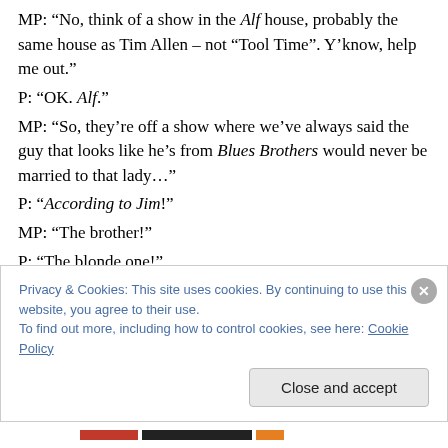MP: “No, think of a show in the Alf house, probably the same house as Tim Allen – not “Tool Time”. Y’know, help me out.”
P: “OK. Alf.”
MP: “So, they’re off a show where we’ve always said the guy that looks like he’s from Blues Brothers would never be married to that lady…”
P: “According to Jim!”
MP: “The brother!”
P: “The blonde one!”
MP: “Yeah, fat blonde one. Sounds like him…”
Privacy & Cookies: This site uses cookies. By continuing to use this website, you agree to their use.
To find out more, including how to control cookies, see here: Cookie Policy